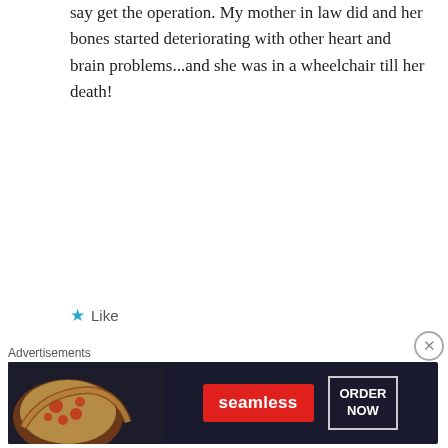say get the operation. My mother in law did and her bones started deteriorating with other heart and brain problems...and she was in a wheelchair till her death!
Like
Reply
OldHeavySoul
October 28, 2019 at 9:40 pm
You are SO awesome. Thank you for saying what
[Figure (screenshot): Advertisement banner for Seamless food delivery with pizza image, Seamless red logo button, and ORDER NOW button on dark background]
Advertisements